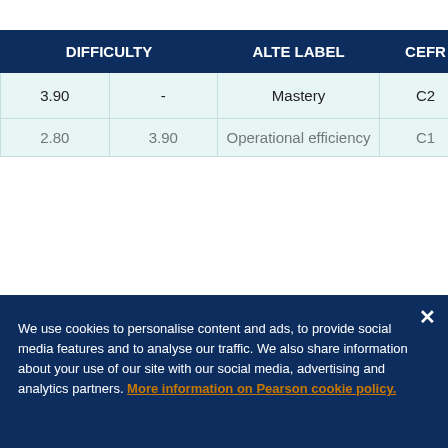| DIFFICULTY |  | ALTE LABEL | CEFR |
| --- | --- | --- | --- |
| 3.90 | - | Mastery | C2 |
| 2.80 | 3.90 | Operational efficiency | C1 |
We use cookies to personalise content and ads, to provide social media features and to analyse our traffic. We also share information about your use of our site with our social media, advertising and analytics partners. More information on Pearson cookie policy.
Cookies Settings
Reject All
Accept All Cookies